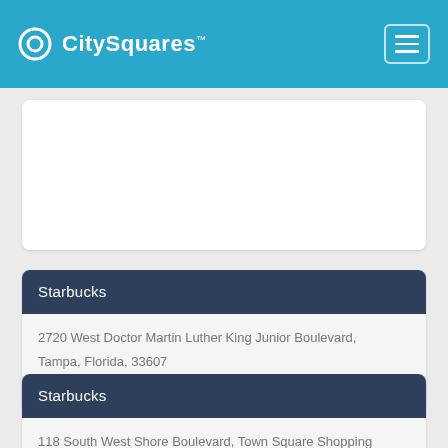CitySquares
Starbucks
2720 West Doctor Martin Luther King Junior Boulevard, Tampa, Florida, 33607
(813) 283-8425
Starbucks
118 South West Shore Boulevard, Town Square Shopping Center, Tampa, Florida, 33609
(813) 636-8500